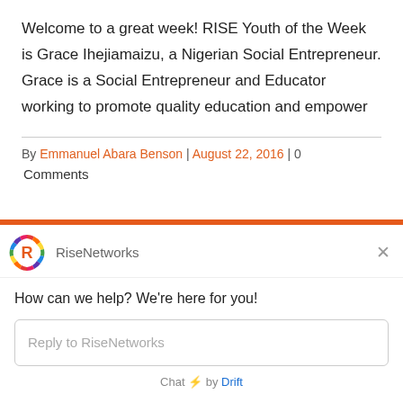Welcome to a great week! RISE Youth of the Week is Grace Ihejiamaizu, a Nigerian Social Entrepreneur. Grace is a Social Entrepreneur and Educator working to promote quality education and empower
By Emmanuel Abara Benson | August 22, 2016 | 0 Comments
[Figure (screenshot): Chat widget from RiseNetworks showing a greeting message 'How can we help? We're here for you!' with a reply input box and 'Chat by Drift' footer. Widget has orange top bar and RiseNetworks logo.]